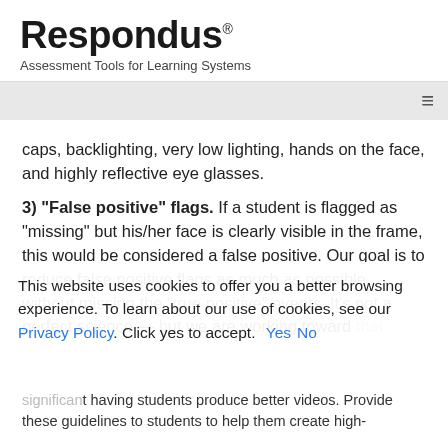Respondus® Assessment Tools for Learning Systems
caps, backlighting, very low lighting, hands on the face, and highly reflective eye glasses.
3) "False positive" flags. If a student is flagged as "missing" but his/her face is clearly visible in the frame, this would be considered a false positive. Our goal is to reduce false positive flags as much as possible, without missing the "true positive" events. It's not a perfect science — but we are working toward that.
This website uses cookies to offer you a better browsing experience. To learn about our use of cookies, see our Privacy Policy. Click yes to accept. Yes No
having students produce better videos. Provide these guidelines to students to help them create high-